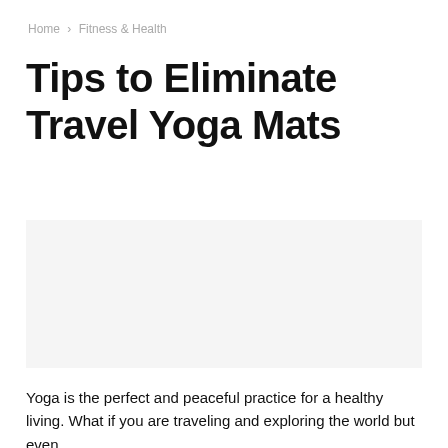Home › Fitness & Health
Tips to Eliminate Travel Yoga Mats
[Figure (photo): Image placeholder area for travel yoga mat article]
Yoga is the perfect and peaceful practice for a healthy living. What if you are traveling and exploring the world but even